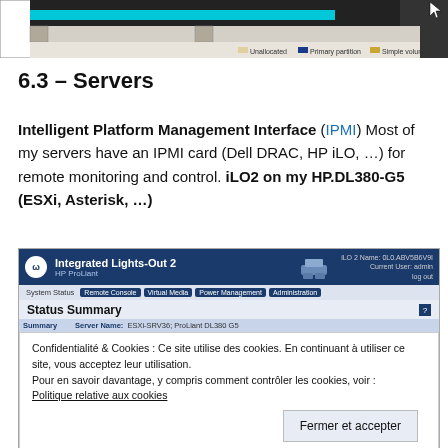[Figure (screenshot): Disk management screenshot showing partition bar with legend: Unallocated, Primary partition, Simple volume, RAID-5 volume]
6.3 – Servers
Intelligent Platform Management Interface (IPMI) Most of my servers have an IPMI card (Dell DRAC, HP iLO, …) for remote monitoring and control. iLO2 on my HP.DL380-G5 (ESXi, Asterisk, …)
[Figure (screenshot): HP Integrated Lights-Out 2 (iLO2) web interface showing Status Summary page with Server Name: ESXi-SRV36; ProLiant DL380 G5. Cookie consent popup visible: 'Confidentialité & Cookies : Ce site utilise des cookies. En continuant à utiliser ce site, vous acceptez leur utilisation. Pour en savoir davantage, y compris comment contrôler les cookies, voir : Politique relative aux cookies' with 'Fermer et accepter' button. iLO 2 Date/Time: 03/03/2014 13:05:00]